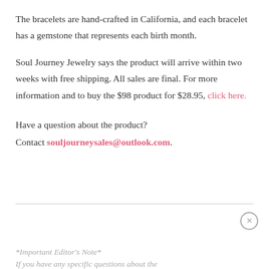The bracelets are hand-crafted in California, and each bracelet has a gemstone that represents each birth month.
Soul Journey Jewelry says the product will arrive within two weeks with free shipping. All sales are final. For more information and to buy the $98 product for $28.95, click here.
Have a question about the product? Contact souljourneysales@outlook.com.
*Important Editor's Note*
If you have any specific questions about the